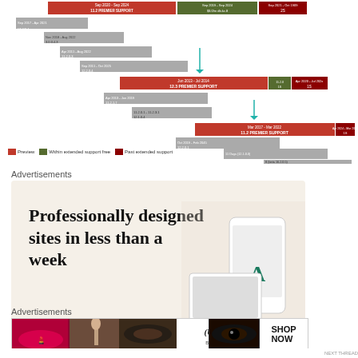[Figure (other): Software lifecycle / version support timeline Gantt chart with colored bars (red=Preview, olive/dark-green=Within extended support, dark-red=Past extended support) on a horizontal timeline with teal arrow markers and version labels]
Legend: Preview | Within extended support free | Past extended support
Advertisements
[Figure (other): Advertisement banner with beige background reading 'Professionally designed sites in less than a week' with a teal 'Explore options' button and a phone/website mockup image on the right]
Advertisements
[Figure (other): ULTA Beauty advertisement banner showing makeup/beauty product images with 'SHOP NOW' text on the right]